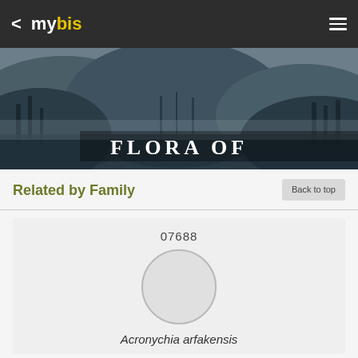my bis
[Figure (photo): Misty lake landscape with trees and mountains in the background, with 'FLORA OF' text overlay at the bottom]
Related by Family
Back to top
07688
[Figure (illustration): Circular placeholder image for Acronychia arfakensis]
Acronychia arfakensis